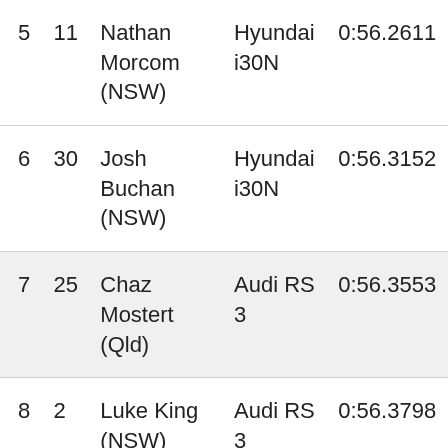| Pos | No | Driver | Car | Time |
| --- | --- | --- | --- | --- |
| 5 | 11 | Nathan Morcom (NSW) | Hyundai i30N | 0:56.2611 |
| 6 | 30 | Josh Buchan (NSW) | Hyundai i30N | 0:56.3152 |
| 7 | 25 | Chaz Mostert (Qld) | Audi RS 3 | 0:56.3553 |
| 8 | 2 | Luke King (NSW) | Audi RS 3 | 0:56.3798 |
| 9 | 17 | Jason Bargwanna (Vic) | Peugeot 308 TCR | 0:56.4816 |